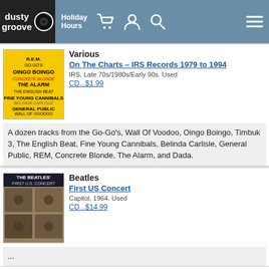dusty groove | Holiday Hours
Various
On The Charts – IRS Records 1979 to 1994
IRS, Late 70s/1980s/Early 90s. Used
CD...$1.99
A dozen tracks from the Go-Go's, Wall Of Voodoo, Oingo Boingo, Timbuk 3, The English Beat, Fine Young Cannibals, Belinda Carlisle, General Public, REM, Concrete Blonde, The Alarm, and Dada.
Beatles
First US Concert
Capitol, 1964. Used
CD...$14.99
...
Desktop version
About Us | Terms of Use | Privacy & Security | Chicago Store |